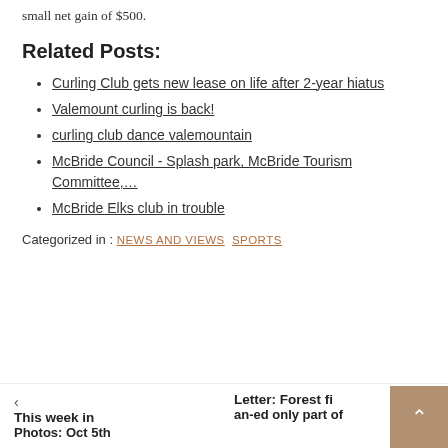small net gain of $500.
Related Posts:
Curling Club gets new lease on life after 2-year hiatus
Valemount curling is back!
curling club dance valemountain
McBride Council - Splash park, McBride Tourism Committee,...
McBride Elks club in trouble
Categorized in : NEWS AND VIEWS  SPORTS
This week in Photos: Oct 5th  |  Letter: Forest fi... an-ed only part of